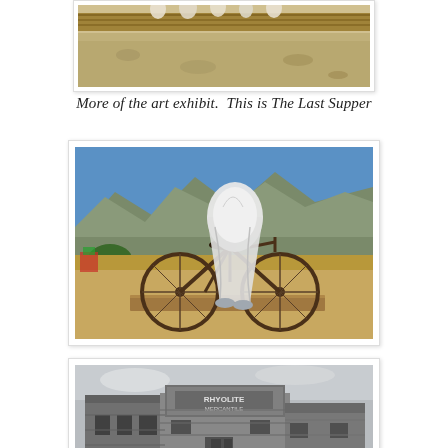[Figure (photo): Partial view of an outdoor art exhibit in desert setting, showing what appears to be The Last Supper sculpture installation against a wooden fence, desert landscape background.]
More of the art exhibit.  This is The Last Supper
[Figure (photo): Color photograph of a ghost-like white figure sculpture draped over a vintage bicycle, set in an open desert landscape with mountains in the background and blue sky.]
[Figure (photo): Black and white photograph of an old wooden building with a sign reading 'RHYOLITE MERCANTILE', appearing to be a ghost town storefront.]